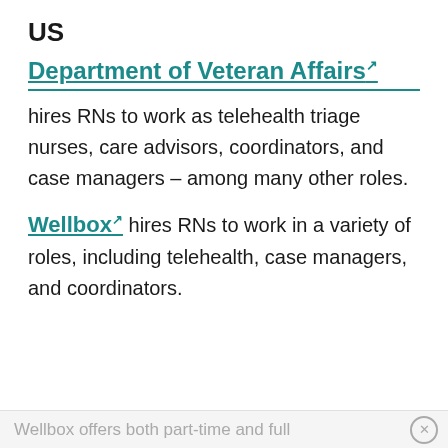US
Department of Veteran Affairs
hires RNs to work as telehealth triage nurses, care advisors, coordinators, and case managers – among many other roles.
Wellbox hires RNs to work in a variety of roles, including telehealth, case managers, and coordinators.
Wellbox offers both part-time and full